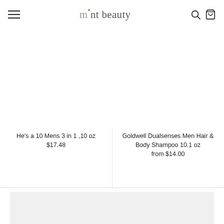mint beauty
He's a 10 Mens 3 in 1 ,10 oz
$17.48
Goldwell Dualsenses Men Hair & Body Shampoo 10.1 oz
from $14.00
[Figure (other): Grey rectangle representing bottom section / banner area]